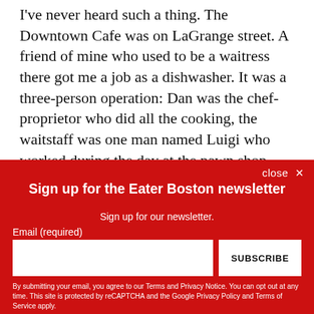I've never heard such a thing. The Downtown Cafe was on LaGrange street. A friend of mine who used to be a waitress there got me a job as a dishwasher. It was a three-person operation: Dan was the chef-proprietor who did all the cooking, the waitstaff was one man named Luigi who worked during the day at the pawn shop next to Jacob Wirth's, and I was in the back, washing dishes. And it was an exceedingly eccentric, interesting, and fun place to work.
[Figure (screenshot): Red newsletter signup overlay with title 'Sign up for the Eater Boston newsletter', subtitle, email input field, subscribe button, and disclaimer text.]